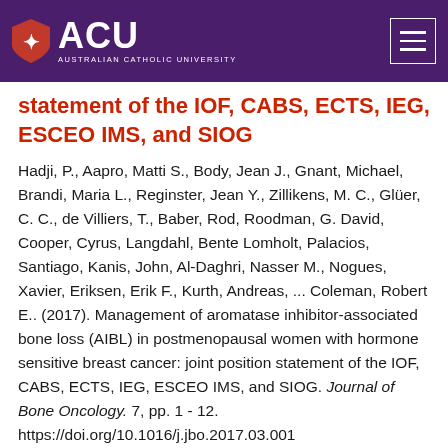ACU - Australian Catholic University
statement of the IOF, CABS, ECTS, IEG, ESCEO IMS, and SIOG
Hadji, P., Aapro, Matti S., Body, Jean J., Gnant, Michael, Brandi, Maria L., Reginster, Jean Y., Zillikens, M. C., Glüer, C. C., de Villiers, T., Baber, Rod, Roodman, G. David, Cooper, Cyrus, Langdahl, Bente Lomholt, Palacios, Santiago, Kanis, John, Al-Daghri, Nasser M., Nogues, Xavier, Eriksen, Erik F., Kurth, Andreas, ... Coleman, Robert E.. (2017). Management of aromatase inhibitor-associated bone loss (AIBL) in postmenopausal women with hormone sensitive breast cancer: joint position statement of the IOF, CABS, ECTS, IEG, ESCEO IMS, and SIOG. Journal of Bone Oncology. 7, pp. 1 - 12. https://doi.org/10.1016/j.jbo.2017.03.001